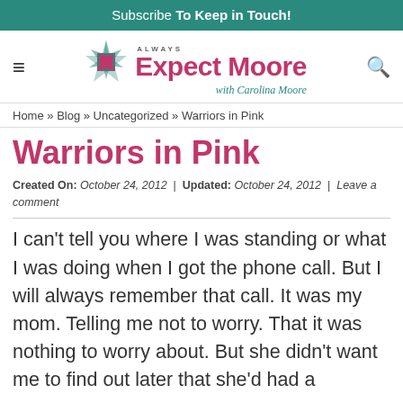Subscribe To Keep in Touch!
[Figure (logo): Always Expect Moore with Carolina Moore logo with decorative star quilt motif]
Home » Blog » Uncategorized » Warriors in Pink
Warriors in Pink
Created On: October 24, 2012 | Updated: October 24, 2012 | Leave a comment
I can't tell you where I was standing or what I was doing when I got the phone call. But I will always remember that call. It was my mom. Telling me not to worry. That it was nothing to worry about. But she didn't want me to find out later that she'd had a